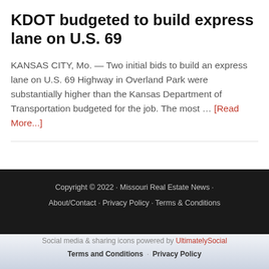KDOT budgeted to build express lane on U.S. 69
KANSAS CITY, Mo. — Two initial bids to build an express lane on U.S. 69 Highway in Overland Park were substantially higher than the Kansas Department of Transportation budgeted for the job. The most … [Read More...]
Copyright © 2022 · Missouri Real Estate News · About/Contact · Privacy Policy · Terms & Conditions
Social media & sharing icons powered by UltimatelySocial
Terms and Conditions · Privacy Policy